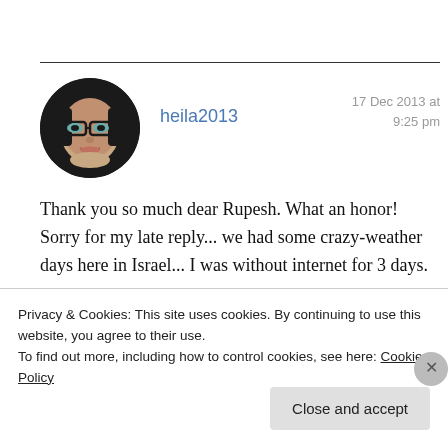[Figure (photo): Circular avatar photo of a woman with glasses and dark hair]
heila2013
17 Dec 2013 at
9:25 pm
Thank you so much dear Rupesh. What an honor! Sorry for my late reply... we had some crazy-weather days here in Israel... I was without internet for 3 days.
Privacy & Cookies: This site uses cookies. By continuing to use this website, you agree to their use.
To find out more, including how to control cookies, see here: Cookie Policy